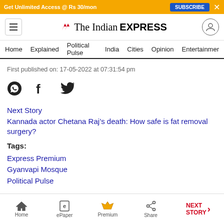Get Unlimited Access @ Rs 30/mon | SUBSCRIBE | X
[Figure (logo): The Indian Express logo with red double-chevron icon, hamburger menu and user icon]
Home | Explained | Political Pulse | India | Cities | Opinion | Entertainment
First published on: 17-05-2022 at 07:31:54 pm
[Figure (infographic): Social share icons: WhatsApp, Facebook, Twitter]
Next Story
Kannada actor Chetana Raj’s death: How safe is fat removal surgery?
Tags:
Express Premium
Gyanvapi Mosque
Political Pulse
Home | ePaper | Premium | Share | NEXT STORY